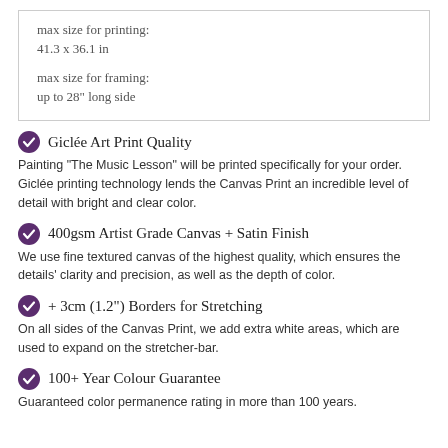max size for printing:
41.3 x 36.1 in

max size for framing:
up to 28" long side
Giclée Art Print Quality
Painting "The Music Lesson" will be printed specifically for your order. Giclée printing technology lends the Canvas Print an incredible level of detail with bright and clear color.
400gsm Artist Grade Canvas + Satin Finish
We use fine textured canvas of the highest quality, which ensures the details' clarity and precision, as well as the depth of color.
+ 3cm (1.2") Borders for Stretching
On all sides of the Canvas Print, we add extra white areas, which are used to expand on the stretcher-bar.
100+ Year Colour Guarantee
Guaranteed color permanence rating in more than 100 years.